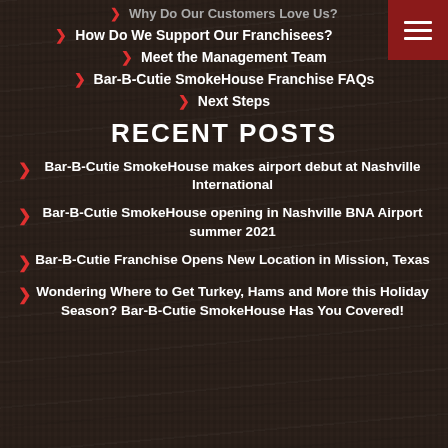Why Do Our Customers Love Us?
How Do We Support Our Franchisees?
Meet the Management Team
Bar-B-Cutie SmokeHouse Franchise FAQs
Next Steps
RECENT POSTS
Bar-B-Cutie SmokeHouse makes airport debut at Nashville International
Bar-B-Cutie SmokeHouse opening in Nashville BNA Airport summer 2021
Bar-B-Cutie Franchise Opens New Location in Mission, Texas
Wondering Where to Get Turkey, Hams and More this Holiday Season? Bar-B-Cutie SmokeHouse Has You Covered!